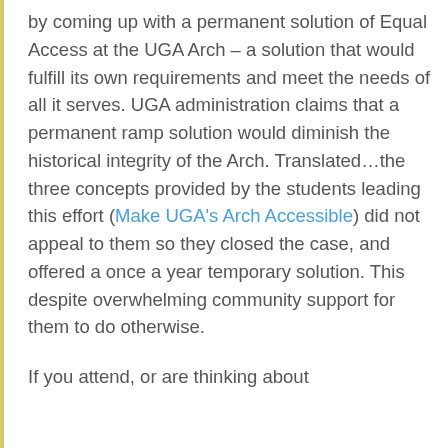by coming up with a permanent solution of Equal Access at the UGA Arch – a solution that would fulfill its own requirements and meet the needs of all it serves. UGA administration claims that a permanent ramp solution would diminish the historical integrity of the Arch. Translated…the three concepts provided by the students leading this effort (Make UGA's Arch Accessible) did not appeal to them so they closed the case, and offered a once a year temporary solution. This despite overwhelming community support for them to do otherwise.
If you attend, or are thinking about